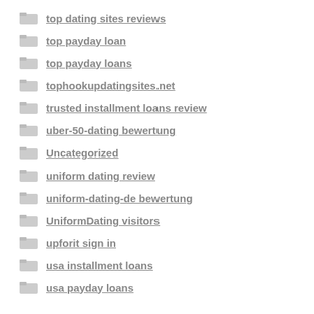top dating sites reviews
top payday loan
top payday loans
tophookupdatingsites.net
trusted installment loans review
uber-50-dating bewertung
Uncategorized
uniform dating review
uniform-dating-de bewertung
UniformDating visitors
upforit sign in
usa installment loans
usa payday loans